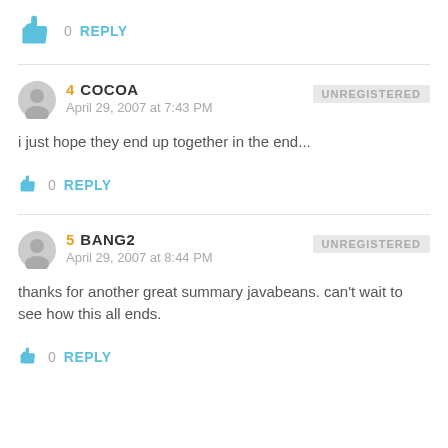👍 0 REPLY
4 COCOA
April 29, 2007 at 7:43 PM
UNREGISTERED
i just hope they end up together in the end...
👍 0 REPLY
5 bang2
April 29, 2007 at 8:44 PM
UNREGISTERED
thanks for another great summary javabeans. can't wait to see how this all ends.
👍 0 REPLY